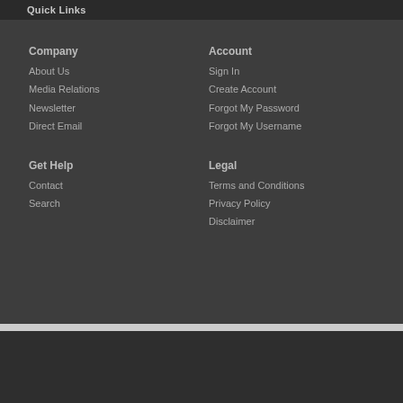Quick Links
Company
About Us
Media Relations
Newsletter
Direct Email
Account
Sign In
Create Account
Forgot My Password
Forgot My Username
Get Help
Contact
Search
Legal
Terms and Conditions
Privacy Policy
Disclaimer
© 2022  Historical Marker Project.  All Rights Reserved.